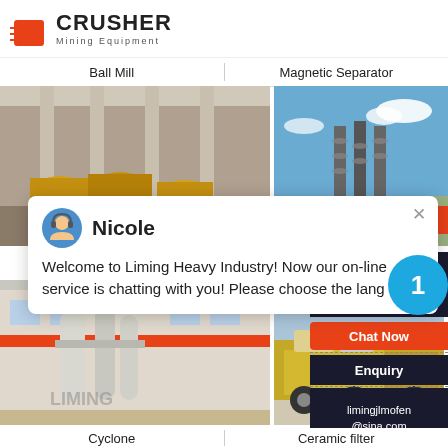[Figure (logo): Crusher Mining Equipment logo with red shopping bag icon and bold CRUSHER text]
Ball Mill
Magnetic Separator
[Figure (photo): Industrial ball mill machinery in a large factory hall with yellow equipment]
[Figure (photo): Magnetic separator equipment outdoors with blue sky, showing spiral/drum separators with 24Hrs Online badge]
[Figure (screenshot): Chat popup overlay: avatar of Nicole with message 'Welcome to Liming Heavy Industry! Now our online service is chatting with you! Please choose the lang']
[Figure (photo): Large industrial cyclone/grinding mill installation outside a building with LIMING branding]
[Figure (photo): Ceramic filter or processing equipment on a truck/vehicle outdoors]
Need & suggestions
Chat Now
Enquiry
limingjlmofen@sina.com
Cyclone
Ceramic filter